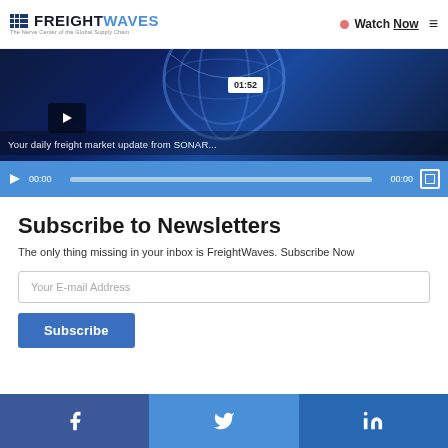FREIGHTWAVES — The Nerve Center of the Global Supply Chain | Watch Now
[Figure (screenshot): Embedded video player showing freight market update from SONAR, with play button, timestamp 01:52, progress bar showing 00:00, and blue video controls bar]
Subscribe to Newsletters
The only thing missing in your inbox is FreightWaves. Subscribe Now
Your E-mail Address
Subscribe
[Figure (infographic): Social media share bar with Facebook, Twitter, and LinkedIn icons on blue backgrounds]